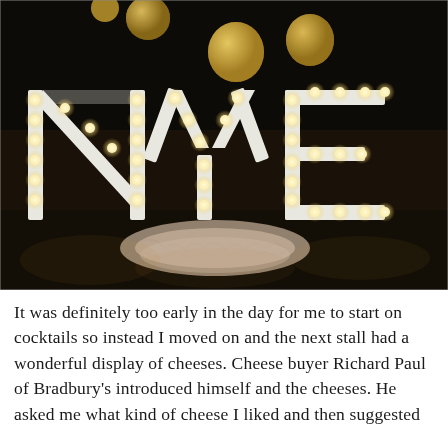[Figure (photo): A dark indoor scene showing illuminated marquee letters 'NYE' with built-in light bulbs. Gold metallic balloons hang in the background. A fur/hide rug is placed on the dark wooden floor in front of the letters.]
It was definitely too early in the day for me to start on cocktails so instead I moved on and the next stall had a wonderful display of cheeses. Cheese buyer Richard Paul of Bradbury's introduced himself and the cheeses. He asked me what kind of cheese I liked and then suggested